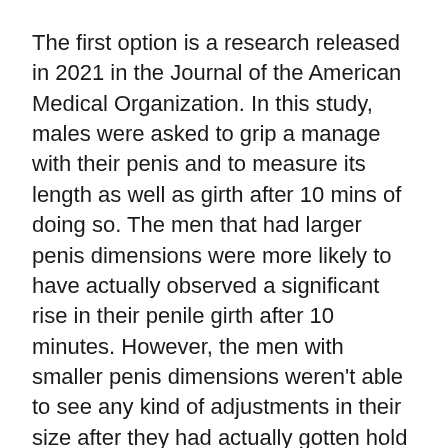The first option is a research released in 2021 in the Journal of the American Medical Organization. In this study, males were asked to grip a manage with their penis and to measure its length as well as girth after 10 mins of doing so. The men that had larger penis dimensions were more likely to have actually observed a significant rise in their penile girth after 10 minutes. However, the men with smaller penis dimensions weren't able to see any kind of adjustments in their size after they had actually gotten hold of the handle.
An additional study released in the Journal of Sexual Medication focuses on the result of anxiety on penis size. Men were asked to